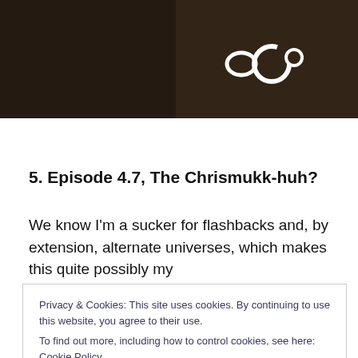[Figure (photo): Dark screenshot from The OC TV show with OC logo visible in bottom right of image]
5. Episode 4.7, The Chrismukk-huh?
We know I'm a sucker for flashbacks and, by extension, alternate universes, which makes this quite possibly my
Privacy & Cookies: This site uses cookies. By continuing to use this website, you agree to their use.
To find out more, including how to control cookies, see here: Cookie Policy
Close and accept